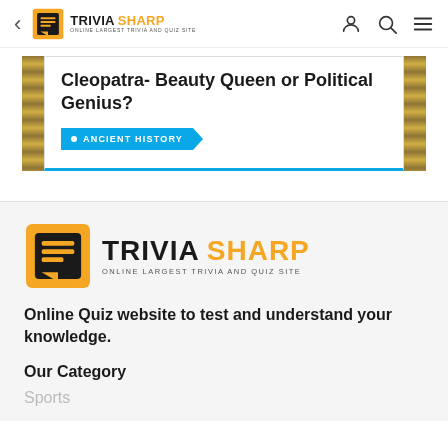< TRIVIA SHARP - ONLINE LARGEST TRIVIA AND QUIZ SITE
Cleopatra- Beauty Queen or Political Genius?
ANCIENT HISTORY
[Figure (logo): Trivia Sharp logo - large version with orange icon and text 'TRIVIA SHARP - ONLINE LARGEST TRIVIA AND QUIZ SITE']
Online Quiz website to test and understand your knowledge.
Our Category
Sports